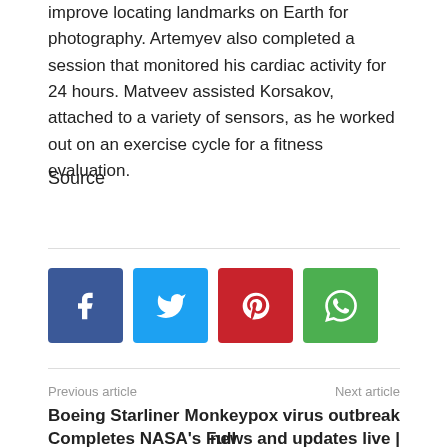improve locating landmarks on Earth for photography. Artemyev also completed a session that monitored his cardiac activity for 24 hours. Matveev assisted Korsakov, attached to a variety of sensors, as he worked out on an exercise cycle for a fitness evaluation.
Source
[Figure (other): Social sharing buttons: Facebook (blue), Twitter (light blue), Pinterest (red), WhatsApp (green)]
Previous article
Boeing Starliner Completes NASA's Full Test Flight to ISS
Next article
Monkeypox virus outbreak news and updates live | Symptoms, transmission and